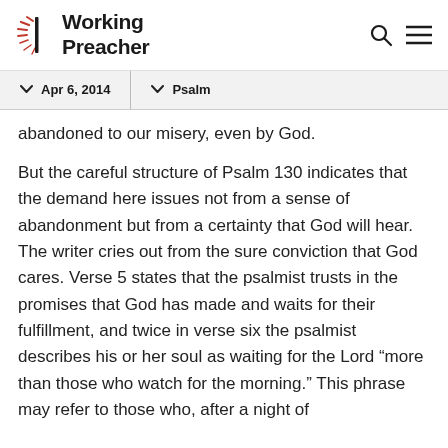Working Preacher
Apr 6, 2014   Psalm
abandoned to our misery, even by God.
But the careful structure of Psalm 130 indicates that the demand here issues not from a sense of abandonment but from a certainty that God will hear. The writer cries out from the sure conviction that God cares. Verse 5 states that the psalmist trusts in the promises that God has made and waits for their fulfillment, and twice in verse six the psalmist describes his or her soul as waiting for the Lord “more than those who watch for the morning.” This phrase may refer to those who, after a night of